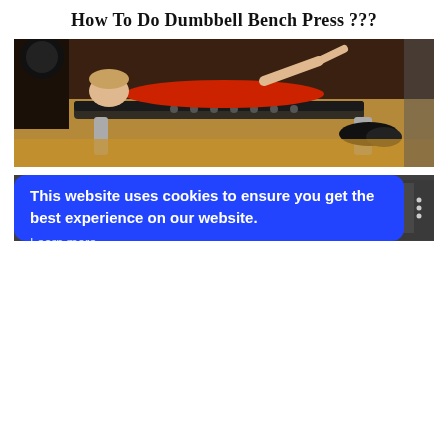How To Do Dumbbell Bench Press ???
[Figure (photo): A person in a red shirt lying on a gym bench performing a dumbbell bench press exercise, viewed from the side in a gym setting with wooden flooring.]
[Figure (screenshot): A video thumbnail showing 'My Tricks: Dumbbell Bench Press' with a muscular person icon on the left against a gym background.]
This website uses cookies to ensure you get the best experience on our website.
Learn more
Got it!